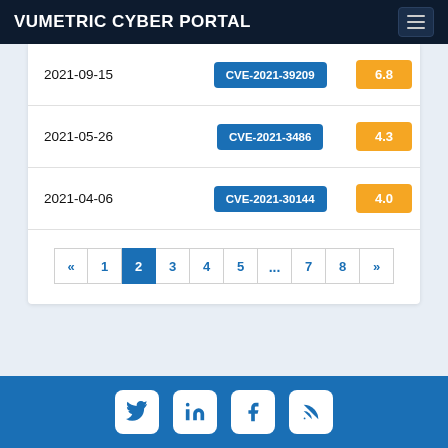VUMETRIC CYBER PORTAL
| Date | CVE | Score |
| --- | --- | --- |
| 2021-09-15 | CVE-2021-39209 | 6.8 |
| 2021-05-26 | CVE-2021-3486 | 4.3 |
| 2021-04-06 | CVE-2021-30144 | 4.0 |
Pagination: « 1 2 3 4 5 ... 7 8 »
Social links: Twitter, LinkedIn, Facebook, RSS